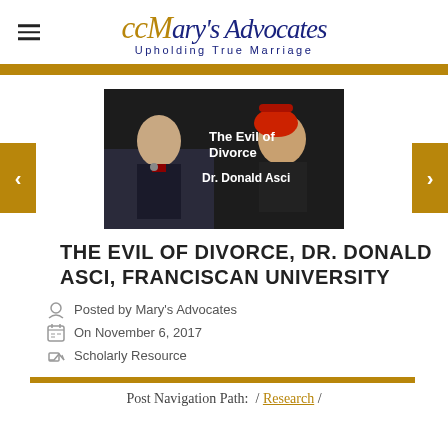Mary's Advocates – Upholding True Marriage
[Figure (photo): Video thumbnail showing two men at a conference; text overlay reads 'The Evil of Divorce Dr. Donald Asci']
THE EVIL OF DIVORCE, DR. DONALD ASCI, FRANCISCAN UNIVERSITY
Posted by Mary's Advocates
On November 6, 2017
Scholarly Resource
Post Navigation Path:  / Research /